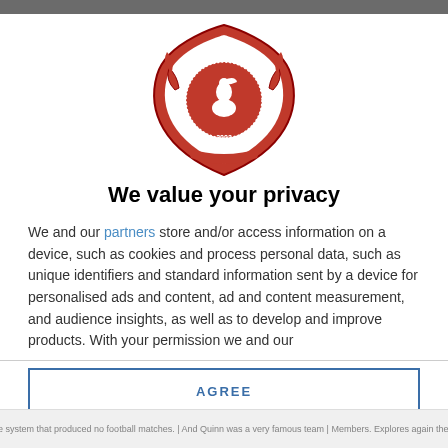[Figure (logo): Lechistory.net website logo — a red heraldic crest with a pelican bird in the center, decorative swans on the sides, and the text 'LECHISTORY.NET' around the top and '2002' at the bottom]
We value your privacy
We and our partners store and/or access information on a device, such as cookies and process personal data, such as unique identifiers and standard information sent by a device for personalised ads and content, ad and content measurement, and audience insights, as well as to develop and improve products. With your permission we and our
AGREE
MORE OPTIONS